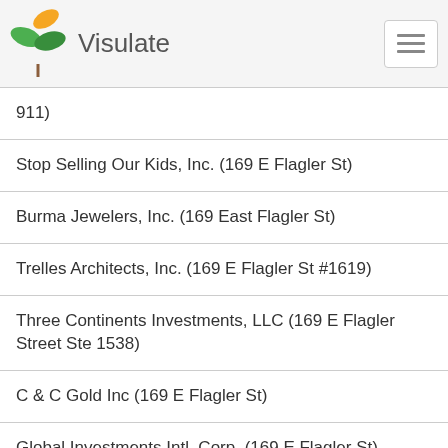Visulate
911)
Stop Selling Our Kids, Inc. (169 E Flagler St)
Burma Jewelers, Inc. (169 East Flagler St)
Trelles Architects, Inc. (169 E Flagler St #1619)
Three Continents Investments, LLC (169 E Flagler Street Ste 1538)
C & C Gold Inc (169 E Flagler St)
Global Investments Intl. Corp. (169 E Flagler St)
The Brothers Barber Shop Inc (2044 S Military Trl)
Fine Watchmaker, Corp. (169 East Flagler St)
Perfect Time Watches Corp (169 East Flagler St)